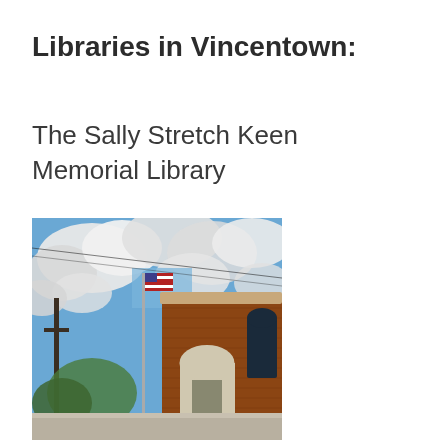Libraries in Vincentown:
The Sally Stretch Keen Memorial Library
[Figure (photo): Exterior photograph of a red brick library building with an arched window and doorway, an American flag on a flagpole in front, and a blue sky with white clouds in the background.]